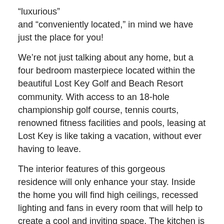“luxurious” and “conveniently located,” in mind we have just the place for you!
We’re not just talking about any home, but a four bedroom masterpiece located within the beautiful Lost Key Golf and Beach Resort community. With access to an 18-hole championship golf course, tennis courts, renowned fitness facilities and pools, leasing at Lost Key is like taking a vacation, without ever having to leave.
The interior features of this gorgeous residence will only enhance your stay. Inside the home you will find high ceilings, recessed lighting and fans in every room that will help to create a cool and inviting space. The kitchen is fully upgraded and comes equipped with stainless steel appliances, granite counters, dark wood cabinets and a cozy breakfast nook. Other great features of the home include multiple balconies and a large mother-in-law suite that sits above the finished two-car garage.